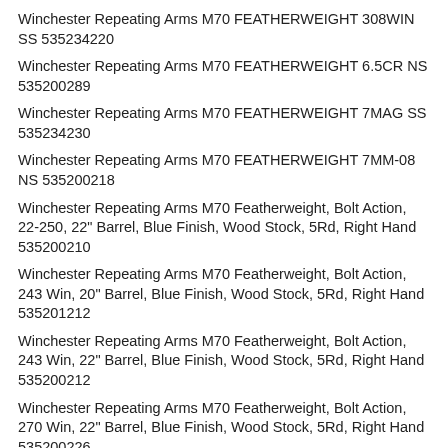Winchester Repeating Arms M70 FEATHERWEIGHT 308WIN SS 535234220
Winchester Repeating Arms M70 FEATHERWEIGHT 6.5CR NS 535200289
Winchester Repeating Arms M70 FEATHERWEIGHT 7MAG SS 535234230
Winchester Repeating Arms M70 FEATHERWEIGHT 7MM-08 NS 535200218
Winchester Repeating Arms M70 Featherweight, Bolt Action, 22-250, 22" Barrel, Blue Finish, Wood Stock, 5Rd, Right Hand 535200210
Winchester Repeating Arms M70 Featherweight, Bolt Action, 243 Win, 20" Barrel, Blue Finish, Wood Stock, 5Rd, Right Hand 535201212
Winchester Repeating Arms M70 Featherweight, Bolt Action, 243 Win, 22" Barrel, Blue Finish, Wood Stock, 5Rd, Right Hand 535200212
Winchester Repeating Arms M70 Featherweight, Bolt Action, 270 Win, 22" Barrel, Blue Finish, Wood Stock, 5Rd, Right Hand 535200226
Winchester Repeating Arms M70 Featherweight, Bolt Action, 300 Win, 24" Barrel, Blue Finish, Wood Stock, 3Rd, Right Hand 535200233
Winchester Repeating Arms M70 Featherweight, Bolt Action, 300 WSM, 24" Barrel, Blue Finish, Wood Stock, 3Rd, Right Hand 535200255